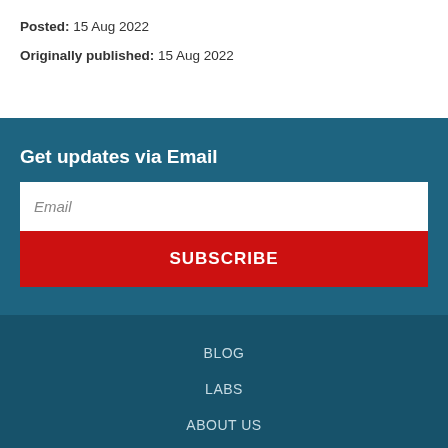Posted: 15 Aug 2022
Originally published: 15 Aug 2022
Get updates via Email
Email
SUBSCRIBE
BLOG
LABS
ABOUT US
TERMS